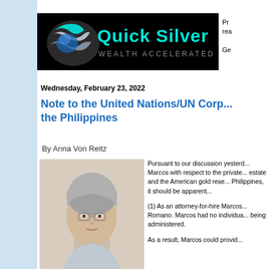[Figure (logo): Quick Silver Wealth Accelerated logo — black background with silver/teal wave graphic and cyan text]
Pr... rea... Ge...
Wednesday, February 23, 2022
Note to the United Nations/UN Corp... the Philippines
By Anna Von Reitz
[Figure (photo): Portrait photo of Anna Von Reitz, an older woman with short gray hair and glasses, wearing a light gray top.]
Pursuant to our discussion yesterd... Marcos with respect to the private... estate and the American gold rese... Philippines, it should be apparent...
(1) As an attorney-for-hire Marcos... Romano. Marcos had no individua... being administered.
As a result, Marcos could provid...